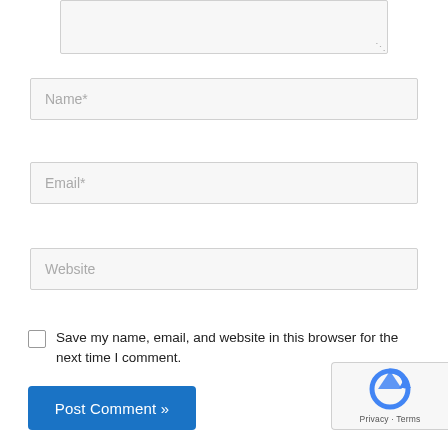[Figure (screenshot): Textarea input box (partially visible, top of page)]
Name*
Email*
Website
Save my name, email, and website in this browser for the next time I comment.
Post Comment »
[Figure (logo): reCAPTCHA badge with Privacy and Terms links]